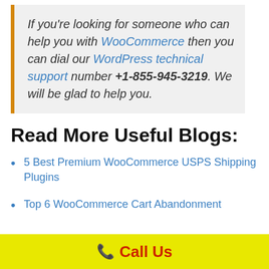If you're looking for someone who can help you with WooCommerce then you can dial our WordPress technical support number +1-855-945-3219. We will be glad to help you.
Read More Useful Blogs:
5 Best Premium WooCommerce USPS Shipping Plugins
Top 6 WooCommerce Cart Abandonment
Call Us